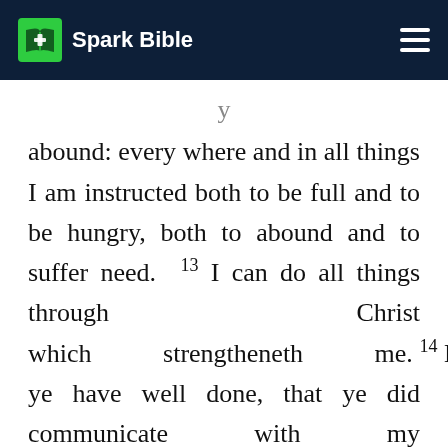Spark Bible
abound: every where and in all things I am instructed both to be full and to be hungry, both to abound and to suffer need. 13 I can do all things through Christ which strengtheneth me. 14 Notwithstanding ye have well done, that ye did communicate with my affliction. 15 Now ye Philippians know also, that in the beginning of the gospel, when I departed from Macedonia no